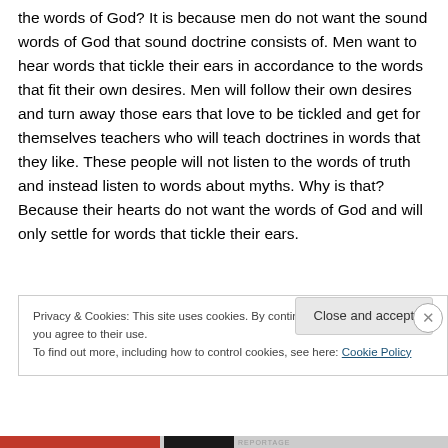the words of God? It is because men do not want the sound words of God that sound doctrine consists of. Men want to hear words that tickle their ears in accordance to the words that fit their own desires. Men will follow their own desires and turn away those ears that love to be tickled and get for themselves teachers who will teach doctrines in words that they like. These people will not listen to the words of truth and instead listen to words about myths. Why is that? Because their hearts do not want the words of God and will only settle for words that tickle their ears.
Privacy & Cookies: This site uses cookies. By continuing to use this website, you agree to their use.
To find out more, including how to control cookies, see here: Cookie Policy
Close and accept